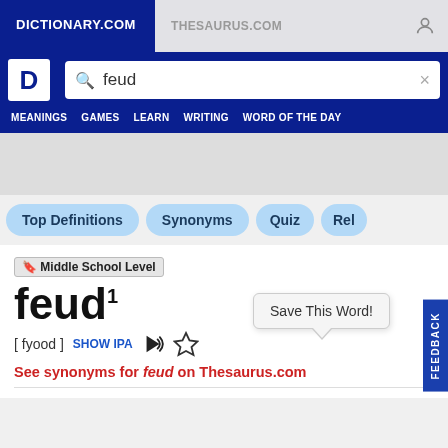DICTIONARY.COM | THESAURUS.COM
feud (search query)
MEANINGS  GAMES  LEARN  WRITING  WORD OF THE DAY
Top Definitions
Synonyms
Quiz
Rel
🔖 Middle School Level
feud¹
[ fyood ]  SHOW IPA
Save This Word!
See synonyms for feud on Thesaurus.com